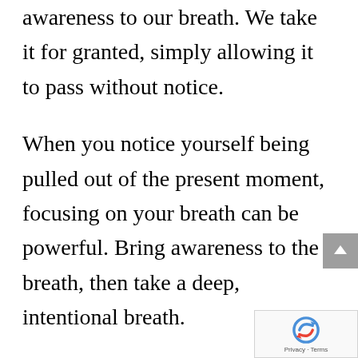awareness to our breath. We take it for granted, simply allowing it to pass without notice.
When you notice yourself being pulled out of the present moment, focusing on your breath can be powerful. Bring awareness to the breath, then take a deep, intentional breath.
Continue doing slow breathing